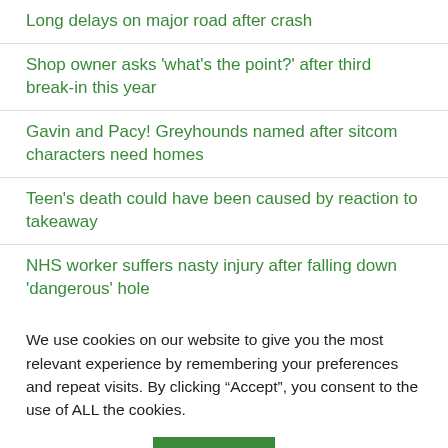Long delays on major road after crash
Shop owner asks 'what's the point?' after third break-in this year
Gavin and Pacy! Greyhounds named after sitcom characters need homes
Teen's death could have been caused by reaction to takeaway
NHS worker suffers nasty injury after falling down 'dangerous' hole
We use cookies on our website to give you the most relevant experience by remembering your preferences and repeat visits. By clicking “Accept”, you consent to the use of ALL the cookies.
Cookie settings | ACCEPT